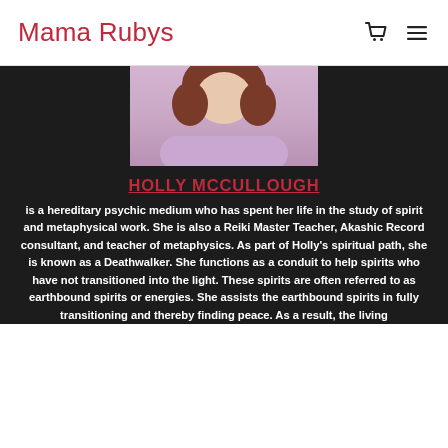Mama Rubys
[Figure (photo): Partial photo of a woman with reddish-brown hair wearing a light purple/lavender top, cropped to show top of head and shoulders]
HOLLY MCCULLOUGH
is a hereditary psychic medium who has spent her life in the study of spirit and metaphysical work. She is also a Reiki Master Teacher, Akashic Record consultant, and teacher of metaphysics. As part of Holly's spiritual path, she is known as a Deathwalker. She functions as a conduit to help spirits who have not transitioned into the light. These spirits are often referred to as earthbound spirits or energies. She assists the earthbound spirits in fully transitioning and thereby finding peace. As a result, the living